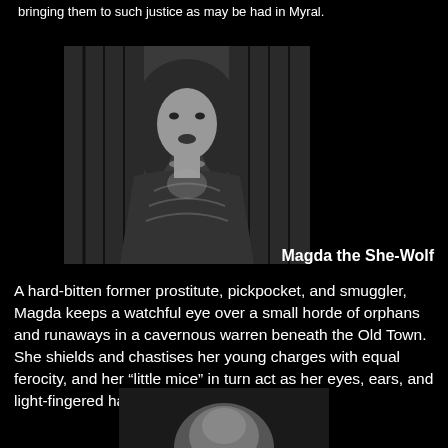bringing them to such justice as may be had in Myral.
[Figure (photo): Black and white photograph of a woman with curly dark hair, wearing an ornate dark outfit, standing in a dimly lit interior. This is Magda the She-Wolf.]
Magda the She-Wolf
A hard-bitten former prostitute, pickpocket, and smuggler, Magda keeps a watchful eye over a small horde of orphans and runaways in a cavernous warren beneath the Old Town. She shields and chastises her young charges with equal ferocity, and her “little mice” in turn act as her eyes, ears, and light-fingered hands throughout the Capital.
[Figure (photo): Partial black and white photograph visible at the bottom of the page.]